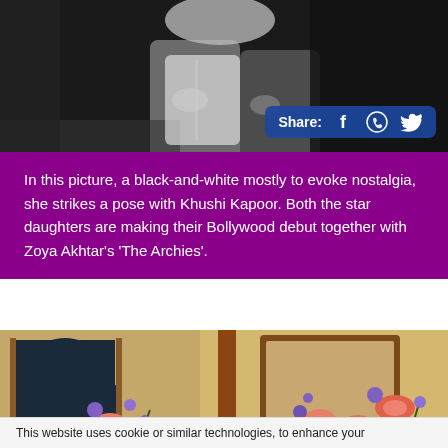[Figure (photo): Black-and-white photo of two women posing together, with a Share bar overlay showing Facebook, WhatsApp, and Twitter icons]
In this picture, a black-and-white mostly to evoke nostalgia, she strikes a pose with Khushi Kapoor. Both the star daughters are making their Bollywood debut together with Zoya Akhtar's 'The Archies'.
[Figure (photo): Color photo showing large colorful floral arrangements with pink lilies, purple and red flowers near a window with an arched top and a mirror frame, with a red circular shopping bag button overlay]
This website uses cookie or similar technologies, to enhance your